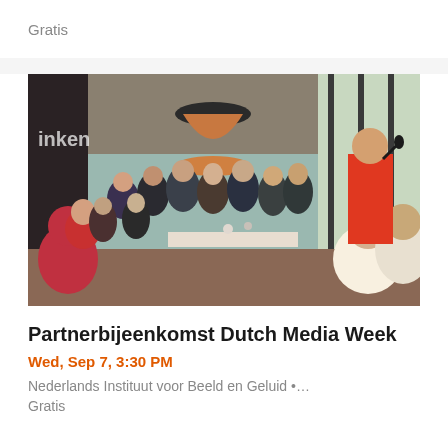Gratis
[Figure (photo): Indoor event gathering with many people standing and sitting; a speaker in a red jacket holds a microphone at the right; pendant lamps hang from ceiling; large windows in background]
Partnerbijeenkomst Dutch Media Week
Wed, Sep 7, 3:30 PM
Nederlands Instituut voor Beeld en Geluid •…
Gratis